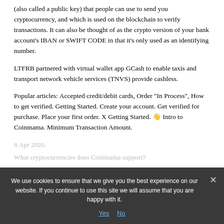(also called a public key) that people can use to send you cryptocurrency, and which is used on the blockchain to verify transactions. It can also be thought of as the crypto version of your bank account's IBAN or SWIFT CODE in that it's only used as an identifying number.
LTFRB partnered with virtual wallet app GCash to enable taxis and transport network vehicle services (TNVS) provide cashless.
Popular articles: Accepted credit/debit cards, Order "In Process", How to get verified. Getting Started. Create your account. Get verified for purchase. Place your first order. X Getting Started. 👋 Intro to Coinmama. Minimum Transaction Amount.
8 Apr 2020.
What cryptocurrencies does Coinmama support?
We use cookies to ensure that we give you the best experience on our website. If you continue to use this site we will assume that you are happy with it.